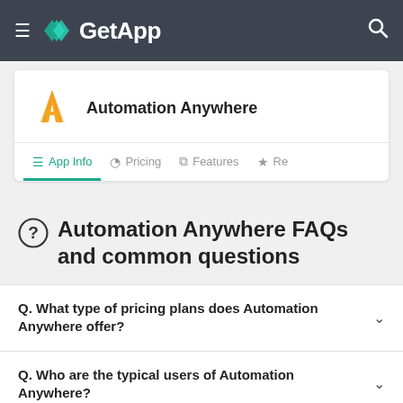GetApp
[Figure (logo): Automation Anywhere product logo with orange/gold A icon]
Automation Anywhere
App Info | Pricing | Features | Re...
Automation Anywhere FAQs and common questions
Q. What type of pricing plans does Automation Anywhere offer?
Q. Who are the typical users of Automation Anywhere?
Q. What languages does Automation Anywhere support?